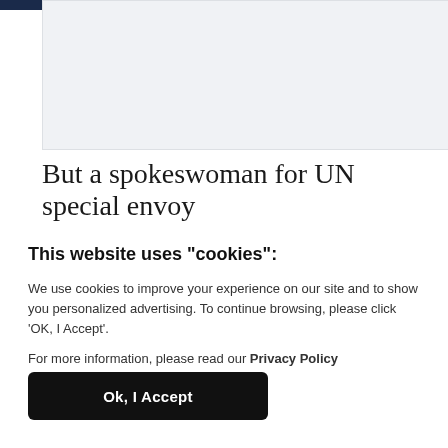[Figure (photo): Partially visible image area with light gray/blue background, cropped at top of page]
But a spokeswoman for UN special envoy
This website uses "cookies":
We use cookies to improve your experience on our site and to show you personalized advertising. To continue browsing, please click ‘OK, I Accept’.
For more information, please read our Privacy Policy
Ok, I Accept